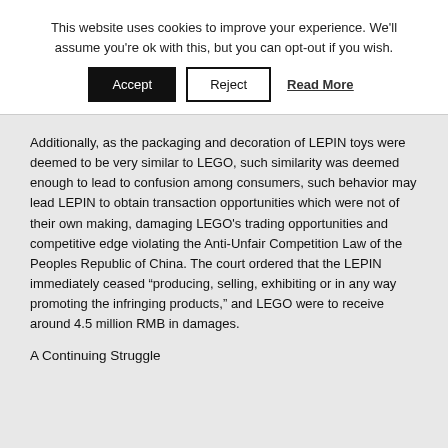This website uses cookies to improve your experience. We'll assume you're ok with this, but you can opt-out if you wish.
Accept | Reject | Read More
Additionally, as the packaging and decoration of LEPIN toys were deemed to be very similar to LEGO, such similarity was deemed enough to lead to confusion among consumers, such behavior may lead LEPIN to obtain transaction opportunities which were not of their own making, damaging LEGO’s trading opportunities and competitive edge violating the Anti-Unfair Competition Law of the Peoples Republic of China. The court ordered that the LEPIN immediately ceased “producing, selling, exhibiting or in any way promoting the infringing products,” and LEGO were to receive around 4.5 million RMB in damages.
A Continuing Struggle